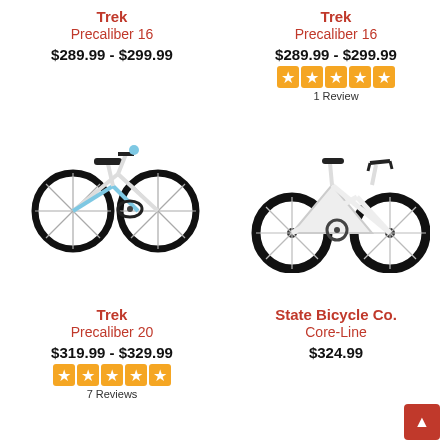Trek Precaliber 16 — $289.99 - $299.99
Trek Precaliber 16 — $289.99 - $299.99 — 5 stars — 1 Review
[Figure (photo): Trek Precaliber 16 children's bike, white with blue accents]
[Figure (photo): State Bicycle Co. Core-Line fixie bike, white with black wheels]
Trek Precaliber 20 — $319.99 - $329.99 — 5 stars — 7 Reviews
State Bicycle Co. Core-Line — $324.99